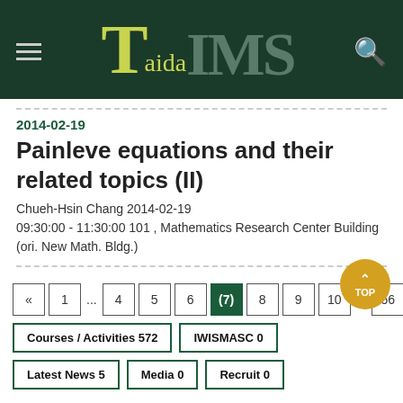TaidaTIMS
2014-02-19
Painleve equations and their related topics (II)
Chueh-Hsin Chang 2014-02-19
09:30:00 - 11:30:00 101 , Mathematics Research Center Building (ori. New Math. Bldg.)
« 1 ... 4 5 6 (7) 8 9 10 ... 56
Courses / Activities 572
IWISMASC 0
Latest News 5
Media 0
Recruit 0